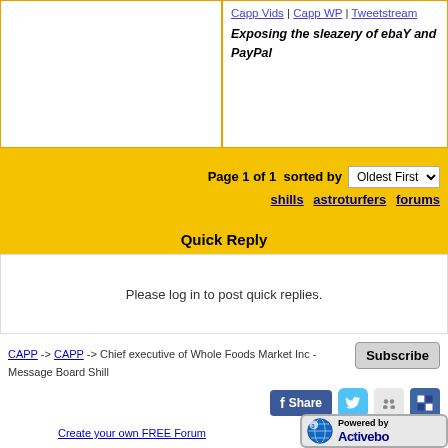Capp Vids | Capp WP | Tweetstream
Exposing the sleazery of ebaY and PayPal
Page 1 of 1  sorted by  Oldest First
shills astroturfers forums
Quick Reply
Please log in to post quick replies.
CAPP -> CAPP -> Chief executive of Whole Foods Market Inc - Message Board Shill
Subscribe
Share
Create your own FREE Forum
Powered by Activebo